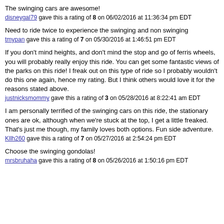The swinging cars are awesome!
disneygal79 gave this a rating of 8 on 06/02/2016 at 11:36:34 pm EDT
Need to ride twice to experience the swinging and non swinging
tmypan gave this a rating of 7 on 05/30/2016 at 1:46:51 pm EDT
If you don't mind heights, and don't mind the stop and go of ferris wheels, you will probably really enjoy this ride. You can get some fantastic views of the parks on this ride! I freak out on this type of ride so I probably wouldn't do this one again, hence my rating. But I think others would love it for the reasons stated above.
justnicksmommy gave this a rating of 3 on 05/28/2016 at 8:22:41 am EDT
I am personally terrified of the swinging cars on this ride, the stationary ones are ok, although when we're stuck at the top, I get a little freaked. That's just me though, my family loves both options. Fun side adventure.
Kllh260 gave this a rating of 7 on 05/27/2016 at 2:54:24 pm EDT
Choose the swinging gondolas!
mrsbruhaha gave this a rating of 8 on 05/26/2016 at 1:50:16 pm EDT